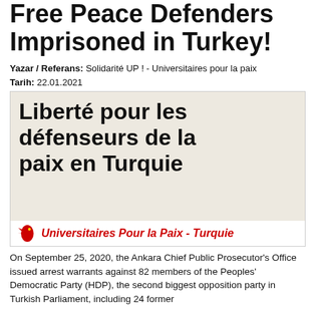Free Peace Defenders Imprisoned in Turkey!
Yazar / Referans: Solidarité UP ! - Universitaires pour la paix
Tarih: 22.01.2021
[Figure (photo): Photo of a banner reading 'Liberté pour les défenseurs de la paix en Turquie' with the logo of Universitaires Pour la Paix - Turquie at the bottom]
On September 25, 2020, the Ankara Chief Public Prosecutor's Office issued arrest warrants against 82 members of the Peoples' Democratic Party (HDP), the second biggest opposition party in Turkish Parliament, including 24 former